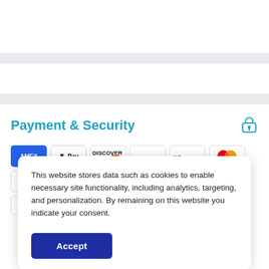Payment & Security
[Figure (logo): Row of payment method logos: American Express, Apple Pay, Discover, Meta Pay, Google Pay, Mastercard, PayPal, OPay, Venmo, Visa]
This website stores data such as cookies to enable necessary site functionality, including analytics, targeting, and personalization. By remaining on this website you indicate your consent.
Accept